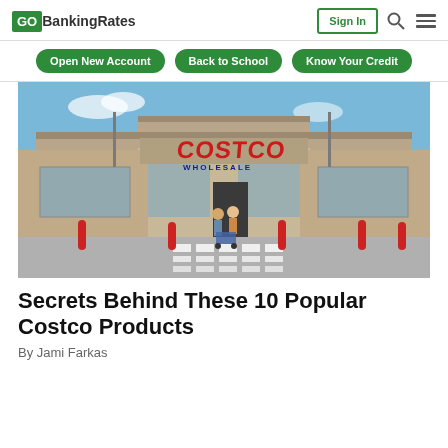GOBankingRates
[Figure (photo): Exterior of a Costco Wholesale store with people pushing a shopping cart in the parking lot. Blue sky, large Costco sign on the building facade.]
Secrets Behind These 10 Popular Costco Products
By Jami Farkas